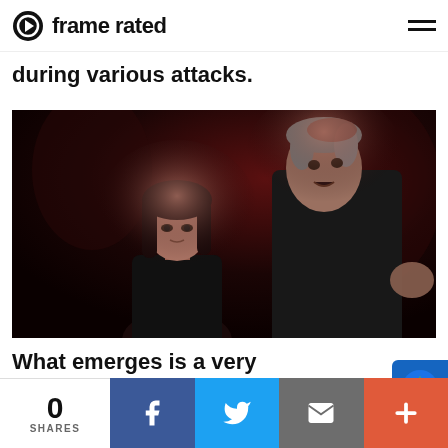frame rated
during various attacks.
[Figure (photo): Two actors in dark lighting — a young woman with dark hair in front, and an older man with grey hair gesturing behind her. Scene appears to be from a TV show.]
What emerges is a very abstract, impressionistic
0 SHARES | Facebook | Twitter | Email | More